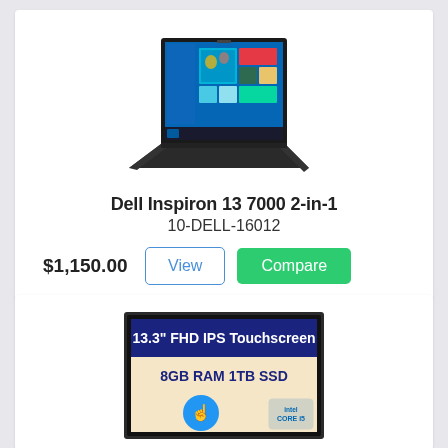[Figure (photo): Dell Inspiron 13 7000 2-in-1 laptop in tent mode with Windows 10 screen visible]
Dell Inspiron 13 7000 2-in-1
10-DELL-16012
$1,150.00
[Figure (photo): Laptop with text: 13.3" FHD IPS Touchscreen, 8GB RAM 1TB SSD, Intel Core i5 logo]